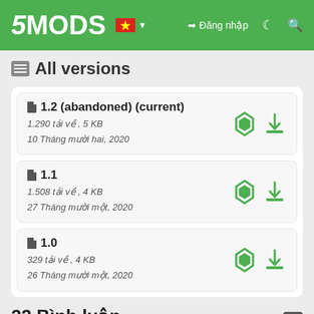5MODS — Đăng nhập
All versions
1.2 (abandoned) (current) — 5.290 tải về , 5 KB — 10 Tháng mười hai, 2020
1.1 — 1.508 tải về , 4 KB — 27 Tháng mười một, 2020
1.0 — 329 tải về , 4 KB — 26 Tháng mười một, 2020
22 Bình luận
Hiển thị 2 bình luận trước